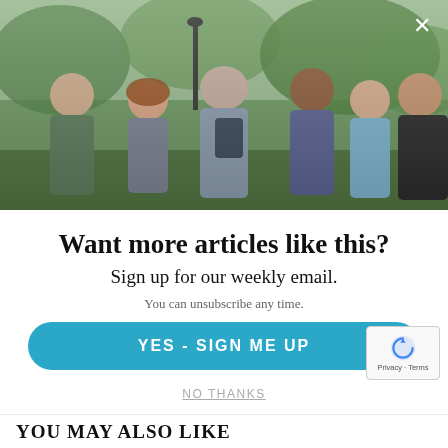[Figure (photo): Group of people standing outdoors in a park/garden setting, engaged in conversation. Multiple adults visible including a bald man, a woman with curly hair, an older man seen from behind, a man with dark hair and beard, a woman with dark hair, and a man in a dark jacket. Green trees visible in background.]
Want more articles like this?
Sign up for our weekly email.
You can unsubscribe any time.
YES - SIGN ME UP
NO THANKS
YOU MAY ALSO LIKE